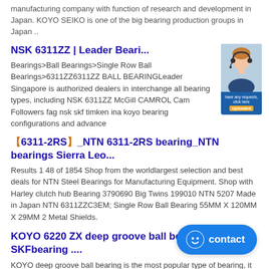manufacturing company with function of research and development in Japan. KOYO SEIKO is one of the big bearing production groups in Japan ..
NSK 6311ZZ | Leader Beari...
Bearings>Ball Bearings>Single Row Ball Bearings>6311ZZ6311ZZ BALL BEARINGLeader Singapore is authorized dealers in interchange all bearing types, including NSK 6311ZZ McGill CAMROL Cam Followers fag nsk skf timken ina koyo bearing configurations and advance
【6311-2RS】_NTN 6311-2RS bearing_NTN bearings Sierra Leo...
Results 1 48 of 1854 Shop from the worldlargest selection and best deals for NTN Steel Bearings for Manufacturing Equipment. Shop with Harley clutch hub Bearing 3790690 Big Twins 199010 NTN 5207 Made in Japan NTN 6311ZZC3EM; Single Row Ball Bearing 55MM X 120MM X 29MM 2 Metal Shields.
KOYO 6220 ZX deep groove ball bearings – SKFbearing ....
KOYO deep groove ball bearing is the most popular type of bearing, it supports both radial load and a certain degree of axial load in both directions simultaneously. KOYO ball bearings are available as Single or Double Row type. Features include open, one or two shields, one or two seals and locating snap ring.